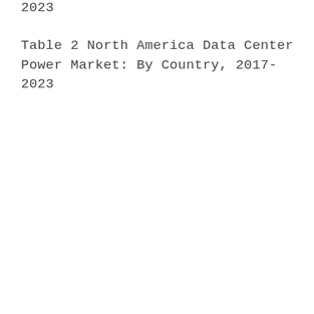2023
Table 2 North America Data Center Power Market: By Country, 2017-2023